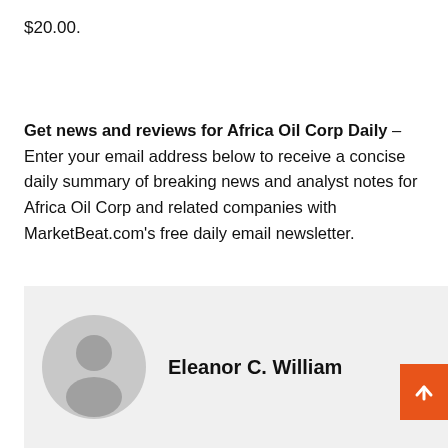$20.00.
Get news and reviews for Africa Oil Corp Daily – Enter your email address below to receive a concise daily summary of breaking news and analyst notes for Africa Oil Corp and related companies with MarketBeat.com's free daily email newsletter.
Eleanor C. William
[Figure (illustration): Orange scroll-to-top button with arrow icon in bottom-right corner]